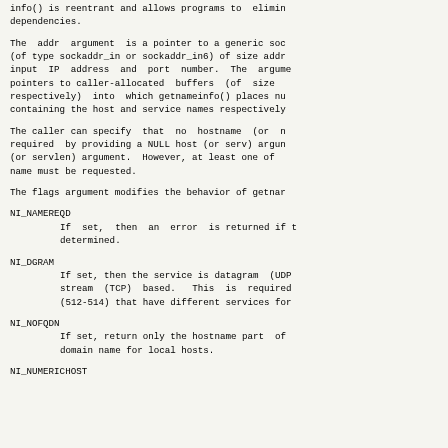info() is reentrant and allows programs to eliminate dependencies.
The addr argument is a pointer to a generic socket (of type sockaddr_in or sockaddr_in6) of size addrlen input IP address and port number. The arguments are pointers to caller-allocated buffers (of size hostlen respectively) into which getnameinfo() places null-terminated strings containing the host and service names respectively.
The caller can specify that no hostname (or no service name) is required by providing a NULL host (or serv) argument or a zero hostlen (or servlen) argument. However, at least one of hostname or service name must be requested.
The flags argument modifies the behavior of getnameinfo().
NI_NAMEREQD
        If set, then an error is returned if the hostname cannot be determined.
NI_DGRAM
        If set, then the service is datagram (UDP) based rather than stream (TCP) based. This is required for the few ports (512-514) that have different services for UDP and TCP.
NI_NOFQDN
        If set, return only the hostname part of the fully qualified domain name for local hosts.
NI_NUMERICHOST